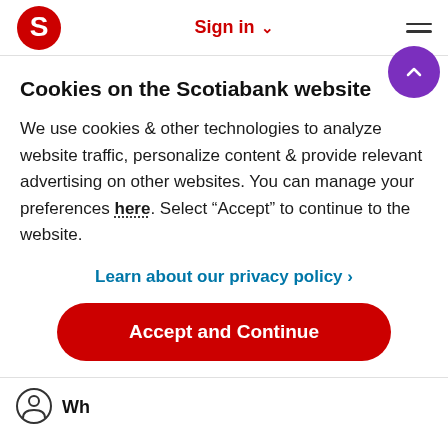Sign in
Cookies on the Scotiabank website
We use cookies & other technologies to analyze website traffic, personalize content & provide relevant advertising on other websites. You can manage your preferences here. Select “Accept” to continue to the website.
Learn about our privacy policy ›
Accept and Continue